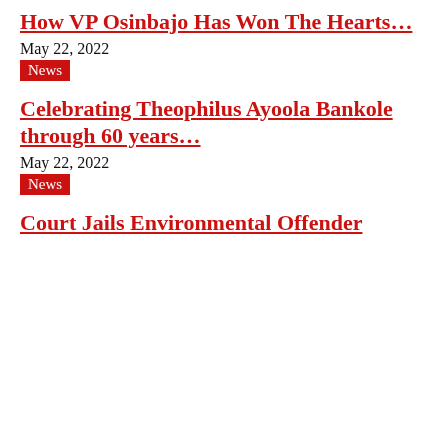How VP Osinbajo Has Won The Hearts…
May 22, 2022
News
Celebrating Theophilus Ayoola Bankole through 60 years…
May 22, 2022
News
Court Jails Environmental Offender